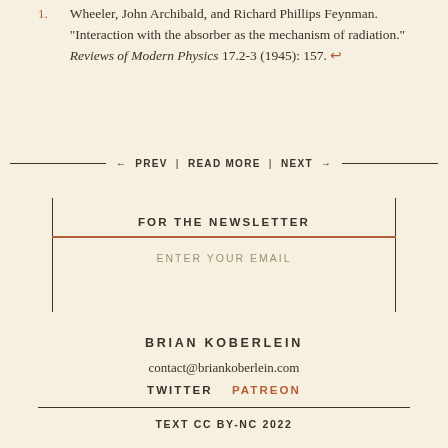1. Wheeler, John Archibald, and Richard Phillips Feynman. "Interaction with the absorber as the mechanism of radiation." Reviews of Modern Physics 17.2-3 (1945): 157. ↩
← PREV | READ MORE | NEXT →
FOR THE NEWSLETTER
ENTER YOUR EMAIL
BRIAN KOBERLEIN
contact@briankoberlein.com
TWITTER   PATREON
TEXT CC BY-NC 2022